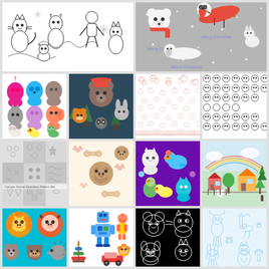[Figure (illustration): Black and white cartoon cats, dogs, and children doodle pattern on white background]
[Figure (illustration): Christmas holiday pattern with dachshunds in red sweaters, polar bears, on gray background with snowflakes and Merry Christmas text]
[Figure (illustration): Colorful 3D toy animal figures including unicorn, bear, hippo, squirrel, dog, duck, frog on white background]
[Figure (illustration): Dark teal seamless pattern with cute forest animals: bear, fox, raccoon, rabbit among pine trees]
[Figure (illustration): Pink/coral repeating small animal pattern on white background]
[Figure (illustration): Black and white small circle/dot animal face repeating pattern on white background]
[Figure (illustration): Gray and white cartoon animal seamless pattern set, multiple tile designs]
[Figure (illustration): Beige/cream seamless pattern with pug dogs, bones, and paw prints]
[Figure (illustration): Purple background seamless pattern with colorful cats, ducks, birds]
[Figure (illustration): Light background with illustrated countryside scene featuring houses, trees, animals, rainbow]
[Figure (illustration): Teal background with colorful cartoon animal heads in circles - lion, bull, bear, monkey, hedgehog]
[Figure (illustration): White background colorful cartoon toy robots, stacking rings, figurines pattern]
[Figure (illustration): Black background with white outline cartoon animal silhouettes pattern]
[Figure (illustration): Light blue toile-style repeated line drawing animal and nature pattern on white background]